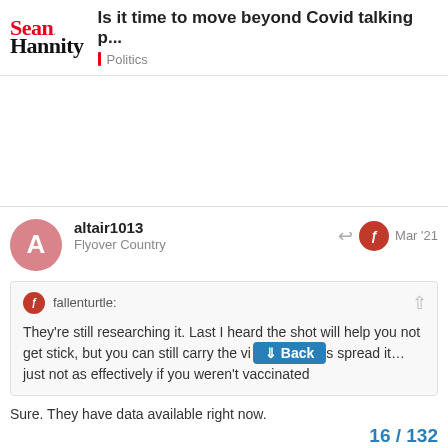Sean Hannity — Is it time to move beyond Covid talking p... — Politics
altair1013 — Flyover Country — Mar '21
fallenturtle: They're still researching it. Last I heard the shot will help you not get stick, but you can still carry the vi... s spread it… just not as effectively if you weren't vaccinated
Sure. They have data available right now.